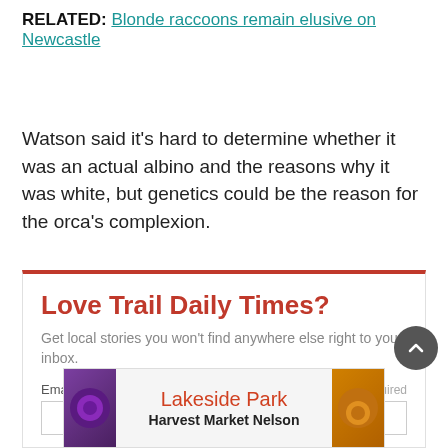RELATED: Blonde raccoons remain elusive on Newcastle
Watson said it’s hard to determine whether it was an actual albino and the reasons why it was white, but genetics could be the reason for the orca’s complexion.
Love Trail Daily Times? Get local stories you won’t find anywhere else right to your inbox. Email Required
[Figure (other): Advertisement banner for Lakeside Park Harvest Market Nelson with produce imagery]